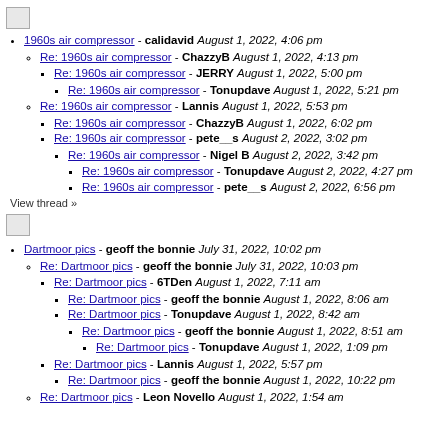[Figure (illustration): Small broken image placeholder icon at top]
1960s air compressor - calidavid August 1, 2022, 4:06 pm
Re: 1960s air compressor - ChazzyB August 1, 2022, 4:13 pm
Re: 1960s air compressor - JERRY August 1, 2022, 5:00 pm
Re: 1960s air compressor - Tonupdave August 1, 2022, 5:21 pm
Re: 1960s air compressor - Lannis August 1, 2022, 5:53 pm
Re: 1960s air compressor - ChazzyB August 1, 2022, 6:02 pm
Re: 1960s air compressor - pete__s August 2, 2022, 3:02 pm
Re: 1960s air compressor - Nigel B August 2, 2022, 3:42 pm
Re: 1960s air compressor - Tonupdave August 2, 2022, 4:27 pm
Re: 1960s air compressor - pete__s August 2, 2022, 6:56 pm
View thread »
[Figure (illustration): Small broken image placeholder icon]
Dartmoor pics - geoff the bonnie July 31, 2022, 10:02 pm
Re: Dartmoor pics - geoff the bonnie July 31, 2022, 10:03 pm
Re: Dartmoor pics - 6TDen August 1, 2022, 7:11 am
Re: Dartmoor pics - geoff the bonnie August 1, 2022, 8:06 am
Re: Dartmoor pics - Tonupdave August 1, 2022, 8:42 am
Re: Dartmoor pics - geoff the bonnie August 1, 2022, 8:51 am
Re: Dartmoor pics - Tonupdave August 1, 2022, 1:09 pm
Re: Dartmoor pics - Lannis August 1, 2022, 5:57 pm
Re: Dartmoor pics - geoff the bonnie August 1, 2022, 10:22 pm
Re: Dartmoor pics - Leon Novello August 1, 2022, 1:54 am